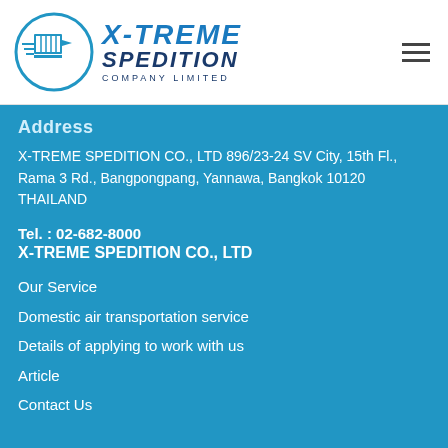[Figure (logo): X-TREME SPEDITION COMPANY LIMITED logo with circular emblem and blue text]
Address
X-TREME SPEDITION CO., LTD 896/23-24 SV City, 15th Fl., Rama 3 Rd., Bangpongpang, Yannawa, Bangkok 10120 THAILAND
Tel. : 02-682-8000
X-TREME SPEDITION CO., LTD
Our Service
Domestic air transportation service
Details of applying to work with us
Article
Contact Us